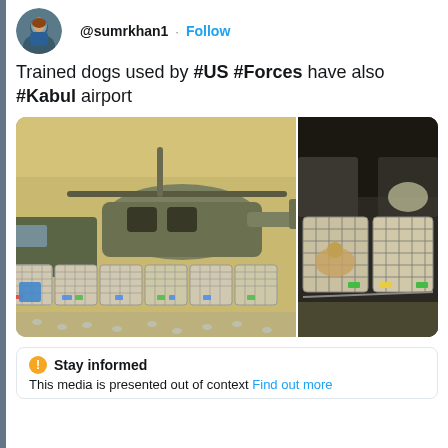[Figure (screenshot): Twitter/X social media post screenshot showing avatar of user @sumrkhan1 with a Follow button]
Trained dogs used by #US #Forces have also #Kabul airport
[Figure (photo): Two photos side by side: left shows multiple animal transport crates/kennels lined up in front of a military helicopter in a hangar; right shows similar kennels in a darker warehouse setting]
Stay informed
This media is presented out of context Find out more